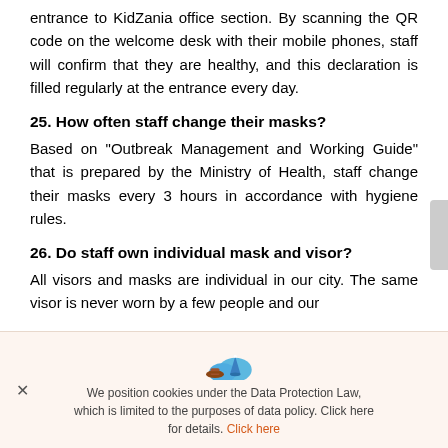entrance to KidZania office section. By scanning the QR code on the welcome desk with their mobile phones, staff will confirm that they are healthy, and this declaration is filled regularly at the entrance every day.
25. How often staff change their masks?
Based on "Outbreak Management and Working Guide" that is prepared by the Ministry of Health, staff change their masks every 3 hours in accordance with hygiene rules.
26. Do staff own individual mask and visor?
All visors and masks are individual in our city. The same visor is never worn by a few people and our
masks are changed at regular intervals.
We position cookies under the Data Protection Law, which is limited to the purposes of data policy. Click here for details. Click here